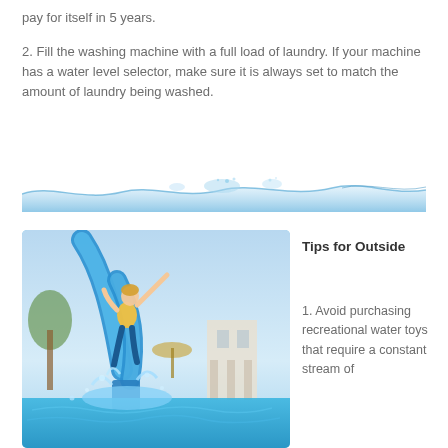pay for itself in 5 years.
2. Fill the washing machine with a full load of laundry. If your machine has a water level selector, make sure it is always set to match the amount of laundry being washed.
[Figure (illustration): Water surface divider illustration showing blue water waves]
[Figure (photo): Child sliding down a blue water slide into a pool, splashing water, at an outdoor water park]
Tips for Outside
1. Avoid purchasing recreational water toys that require a constant stream of